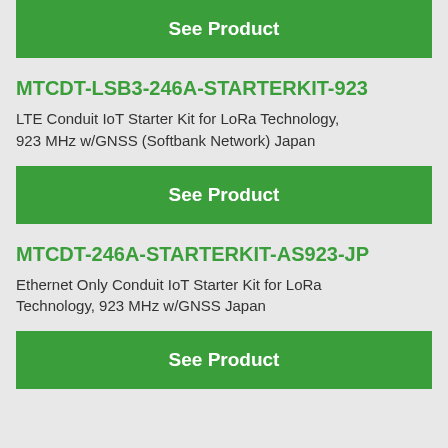[Figure (other): Green 'See Product' button at top of page]
MTCDT-LSB3-246A-STARTERKIT-923
LTE Conduit IoT Starter Kit for LoRa Technology, 923 MHz w/GNSS (Softbank Network) Japan
[Figure (other): Green 'See Product' button]
MTCDT-246A-STARTERKIT-AS923-JP
Ethernet Only Conduit IoT Starter Kit for LoRa Technology, 923 MHz w/GNSS Japan
[Figure (other): Green 'See Product' button at bottom]